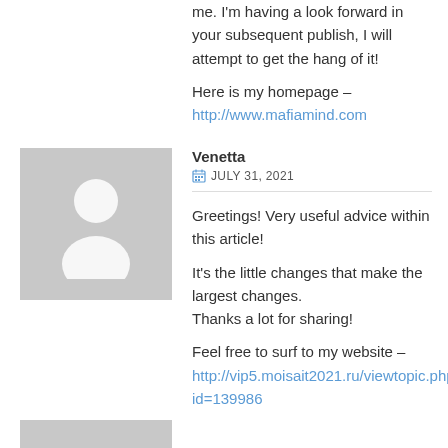me. I'm having a look forward in your subsequent publish, I will attempt to get the hang of it!
Here is my homepage – http://www.mafiamind.com
[Figure (illustration): Generic gray avatar placeholder image with silhouette of person]
Venetta
JULY 31, 2021
Greetings! Very useful advice within this article! It's the little changes that make the largest changes. Thanks a lot for sharing!
Feel free to surf to my website – http://vip5.moisait2021.ru/viewtopic.php?id=139986
[Figure (illustration): Partial gray avatar placeholder image at bottom]